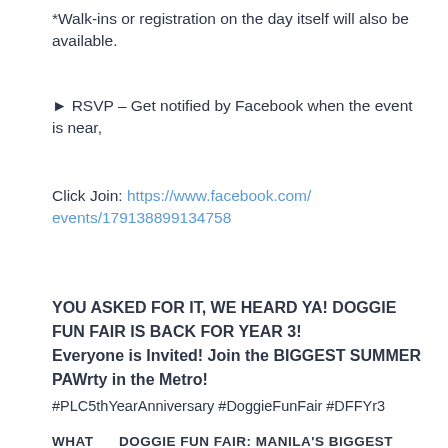*Walk-ins or registration on the day itself will also be available.
► RSVP – Get notified by Facebook when the event is near,
Click Join: https://www.facebook.com/events/179138899134758
YOU ASKED FOR IT, WE HEARD YA! DOGGIE FUN FAIR IS BACK FOR YEAR 3!
Everyone is Invited! Join the BIGGEST SUMMER PAWrty in the Metro!
#PLC5thYearAnniversary #DoggieFunFair #DFFYr3
WHAT      DOGGIE FUN FAIR: MANILA'S BIGGEST